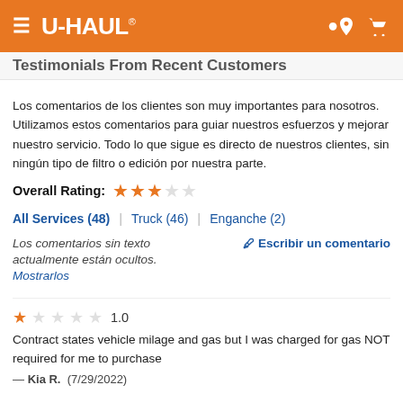U-HAUL
Testimonials From Recent Customers
Los comentarios de los clientes son muy importantes para nosotros. Utilizamos estos comentarios para guiar nuestros esfuerzos y mejorar nuestro servicio. Todo lo que sigue es directo de nuestros clientes, sin ningún tipo de filtro o edición por nuestra parte.
Overall Rating: ★★★☆☆
All Services (48) | Truck (46) | Enganche (2)
Los comentarios sin texto actualmente están ocultos. Mostrarlos   ✎ Escribir un comentario
★☆☆☆☆ 1.0 Contract states vehicle milage and gas but I was charged for gas NOT required for me to purchase — Kia R. (7/29/2022)